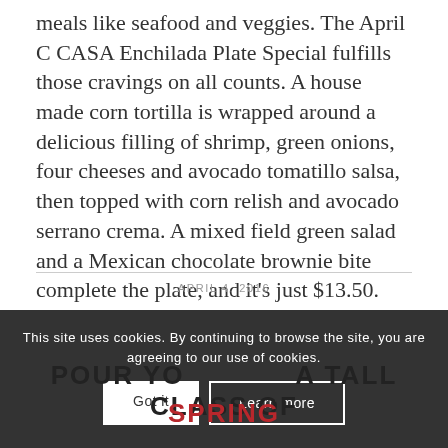meals like seafood and veggies. The April C CASA Enchilada Plate Special fulfills those cravings on all counts. A house made corn tortilla is wrapped around a delicious filling of shrimp, green onions, four cheeses and avocado tomatillo salsa, then topped with corn relish and avocado serrano crema. A mixed field green salad and a Mexican chocolate brownie bite complete the plate, and it's just $13.50.
APRIL 4, 2016
This site uses cookies. By continuing to browse the site, you are agreeing to our use of cookies.
Got it
Learn more
POUR YOUR GLASS OF SPRING